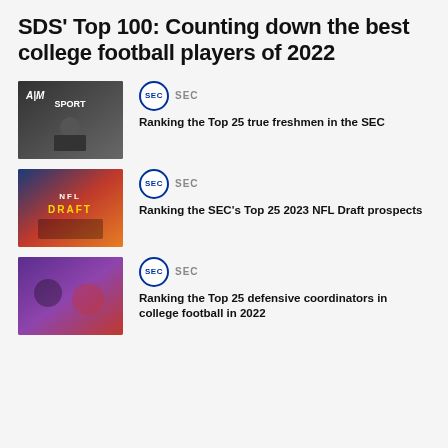SDS' Top 100: Counting down the best college football players of 2022
[Figure (photo): Photo of a college football coach at a press conference with Texas A&M logo visible]
SEC
Ranking the Top 25 true freshmen in the SEC
[Figure (photo): Photo of players at NFL Draft with colorful team jerseys]
SEC
Ranking the SEC's Top 25 2023 NFL Draft prospects
[Figure (photo): Photo of coaches on sideline with purple and orange colors]
SEC
Ranking the Top 25 defensive coordinators in college football in 2022